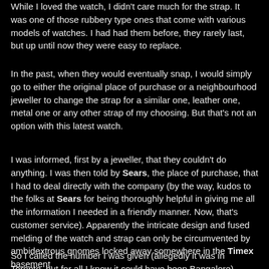While I loved the watch, I didn't care much for the strap. It was one of those rubbery type ones that come with various models of watches. I had had them before, they rarely last, but up until now they were easy to replace.
In the past, when they would eventually snap, I would simply go to either the original place of purchase or a neighbourhood jeweller to change the strap for a similar one, leather one, metal one or any other strap of my choosing. But that's not an option with this latest watch.
I was informed, first by a jeweller, that they couldn't do anything. I was then told by Sears, the place of purchase, that I had to deal directly with the company (by the way, kudos to the folks at Sears for being thoroughly helpful in giving me all the information I needed in a friendly manner. Now, that's customer service). Apparently the intricate design and fused melding of the watch and strap can only be circumvented by ambidextrous gnomes locked away somewhere in the Timex basement.
So I called the number I was given (allegedly it was in Toronto, but for all I know it could have been Bangalore).